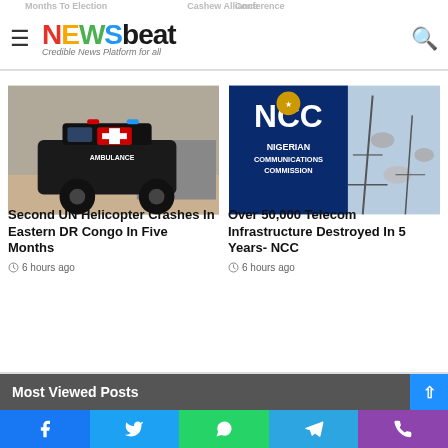NEWSBEAT - Credible News Platform for all
[Figure (photo): Black ambulance/SUV with red cross marking at what appears to be an incident scene with crowds in background]
Second UN Helicopter Crashes In Eastern DR Congo In Five Months
6 hours ago
[Figure (photo): NCC - Nigerian Communications Commission logo with telecommunications towers in background]
Over 50,000 Telecom Infrastructure Destroyed In 5 Years- NCC
6 hours ago
Most Viewed Posts